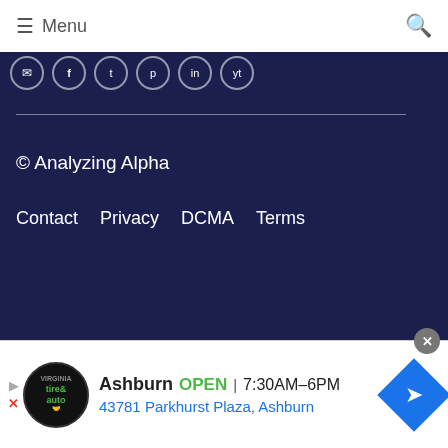≡ Menu
[Figure (illustration): Social media icon circles in a row on dark navy background]
© Analyzing Alpha
Contact   Privacy   DCMA   Terms
[Figure (infographic): Advertisement banner: Virginia Tire & Auto - Ashburn OPEN 7:30AM–6PM 43781 Parkhurst Plaza, Ashburn]